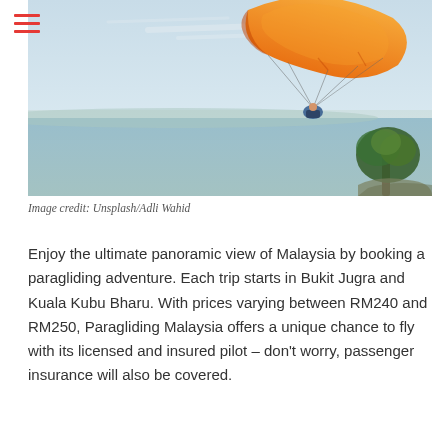[Figure (photo): Paraglider with bright orange canopy soaring over a coastal landscape with blue sky, ocean horizon, and a tree in the lower right corner]
Image credit: Unsplash/Adli Wahid
Enjoy the ultimate panoramic view of Malaysia by booking a paragliding adventure. Each trip starts in Bukit Jugra and Kuala Kubu Bharu. With prices varying between RM240 and RM250, Paragliding Malaysia offers a unique chance to fly with its licensed and insured pilot – don't worry, passenger insurance will also be covered.